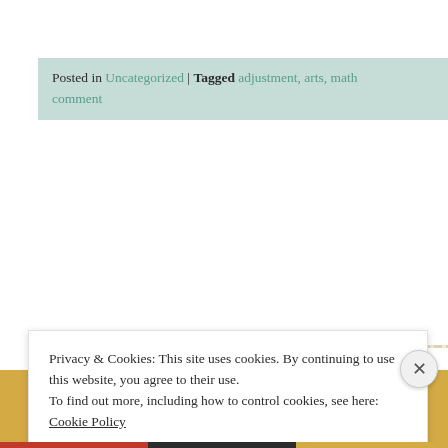Posted in Uncategorized | Tagged adjustment, arts, math... comment
Privacy & Cookies: This site uses cookies. By continuing to use this website, you agree to their use. To find out more, including how to control cookies, see here: Cookie Policy
Close and accept